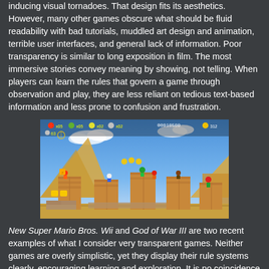inducing visual tornadoes. That design fits its aesthetics. However, many other games obscure what should be fluid readability with bad tutorials, muddled art design and animation, terrible user interfaces, and general lack of information. Poor transparency is similar to long exposition in film. The most immersive stories convey meaning by showing, not telling. When players can learn the rules that govern a game through observation and play, they are less reliant on tedious text-based information and less prone to confusion and frustration.
[Figure (screenshot): Screenshot of New Super Mario Bros. Wii showing Mario and other characters on desert-themed platforms with HUD displaying score 00010500, timer 312, and item counters.]
New Super Mario Bros. Wii and God of War III are two recent examples of what I consider very transparent games. Neither games are overly simplistic, yet they display their rule systems clearly, encouraging learning and exploration. It is no coincidence that the character select screen in NSMBW...